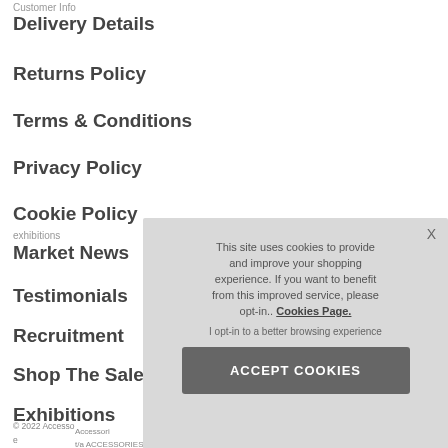Customer Info
Delivery Details
Returns Policy
Terms & Conditions
Privacy Policy
Cookie Policy
exhibitions
Market News
Testimonials
Recruitment
Shop The Sale
Exhibitions
© 2022 Accessories by Park Lane LTD t/a ACCESSORIES BY PARK LANE LTD t/b
[Figure (screenshot): Cookie consent modal overlay with text: 'This site uses cookies to provide and improve your shopping experience. If you want to benefit from this improved service, please opt-in.. Cookies Page.' with an 'I opt-in to a better browsing experience' link and 'ACCEPT COOKIES' button.]